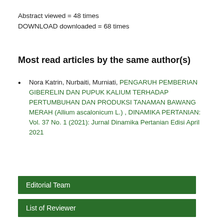Abstract viewed = 48 times
DOWNLOAD downloaded = 68 times
Most read articles by the same author(s)
Nora Katrin, Nurbaiti, Murniati, PENGARUH PEMBERIAN GIBERELIN DAN PUPUK KALIUM TERHADAP PERTUMBUHAN DAN PRODUKSI TANAMAN BAWANG MERAH (Allium ascalonicum L.) , DINAMIKA PERTANIAN: Vol. 37 No. 1 (2021): Jurnal Dinamika Pertanian Edisi April 2021
Editorial Team
List of Reviewer